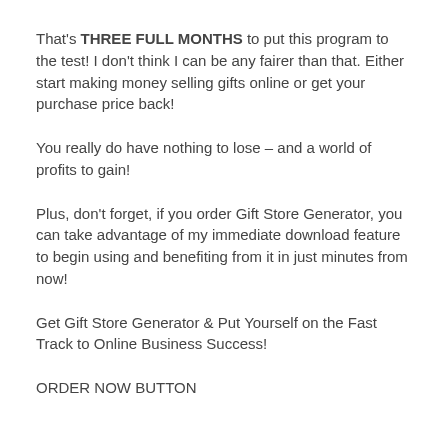That's THREE FULL MONTHS to put this program to the test! I don't think I can be any fairer than that. Either start making money selling gifts online or get your purchase price back!
You really do have nothing to lose – and a world of profits to gain!
Plus, don't forget, if you order Gift Store Generator, you can take advantage of my immediate download feature to begin using and benefiting from it in just minutes from now!
Get Gift Store Generator & Put Yourself on the Fast Track to Online Business Success!
ORDER NOW BUTTON